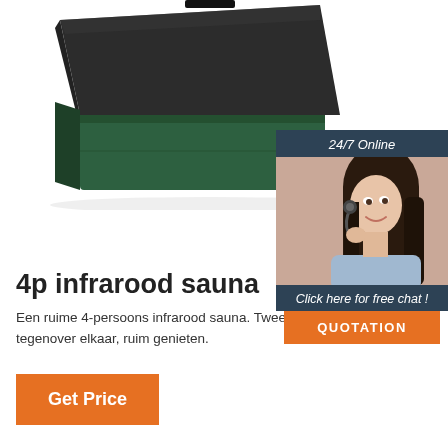[Figure (photo): Product photo of a 4-person infrared sauna box, dark grey/black top with dark green body, viewed from an angle]
[Figure (photo): Chat widget with '24/7 Online' header, photo of a smiling female customer service representative wearing a headset, 'Click here for free chat!' text and orange QUOTATION button]
4p infrarood sauna
Een ruime 4-persoons infrarood sauna. Twee zetels tegenover elkaar, ruim genieten.
[Figure (other): Orange 'Get Price' button]